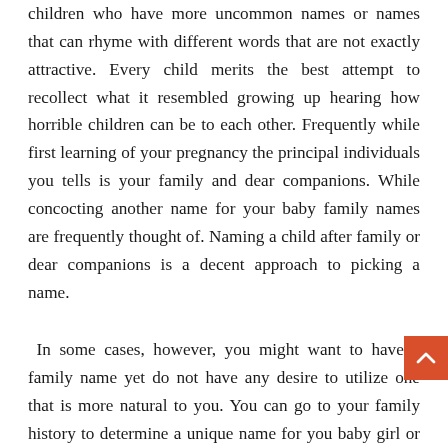children who have more uncommon names or names that can rhyme with different words that are not exactly attractive. Every child merits the best attempt to recollect what it resembled growing up hearing how horrible children can be to each other. Frequently while first learning of your pregnancy the principal individuals you tells is your family and dear companions. While concocting another name for your baby family names are frequently thought of. Naming a child after family or dear companions is a decent approach to picking a name.
In some cases, however, you might want to have a family name yet do not have any desire to utilize one that is more natural to you. You can go to your family history to determine a unique name for you baby girl or boy. Focusing on your family tree can be a helpful medium in sorting out the ideal name. Assuming you are uncertain how to look for names, there are different internet based sources to help including parentage research sites.